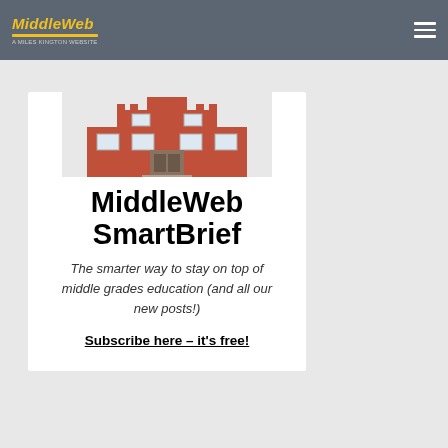MiddleWeb
[Figure (illustration): Illustration of a red school building with windows and steps]
MiddleWeb SmartBrief
The smarter way to stay on top of middle grades education (and all our new posts!)
Subscribe here – it's free!
[Figure (infographic): Three icons: star, clock, speech bubble]
BOOK REVIEWS / CLASSROOM COMMUNITY
Classroom Management Anchored in